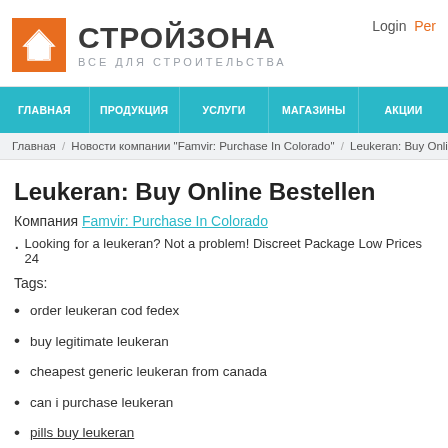СТРОЙЗОНА — ВСЕ ДЛЯ СТРОИТЕЛЬСТВА
ГЛАВНАЯ / ПРОДУКЦИЯ / УСЛУГИ / МАГАЗИНЫ / АКЦИИ
Главная / Новости компании "Famvir: Purchase In Colorado" / Leukeran: Buy Online Beste...
Leukeran: Buy Online Bestellen
Компания Famvir: Purchase In Colorado
Looking for a leukeran? Not a problem! Discreet Package Low Prices 24...
Tags:
order leukeran cod fedex
buy legitimate leukeran
cheapest generic leukeran from canada
can i purchase leukeran
pills buy leukeran
buy leukeran cancun